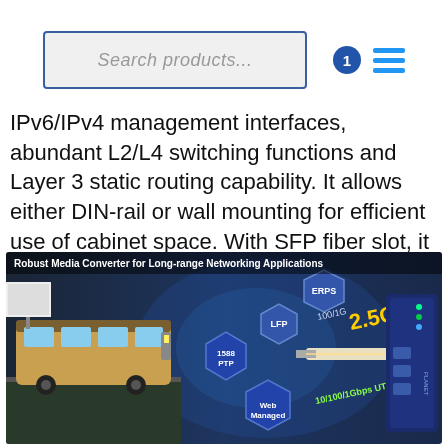Search products...
IPv6/IPv4 management interfaces, abundant L2/L4 switching functions and Layer 3 static routing capability. It allows either DIN-rail or wall mounting for efficient use of cabinet space. With SFP fiber slot, it can be flexibly applied to extend the connection distance.
[Figure (infographic): Robust Media Converter for Long-range Networking Applications. Infographic showing a bus/transit vehicle on the left, hexagonal feature badges (ERPS, LFP, 1588 PTP, Web Managed), and a network device on the right. Text overlay shows 2.5Gbps speed, 100/1G fiber, and 10/100/1Gbps UTP.]